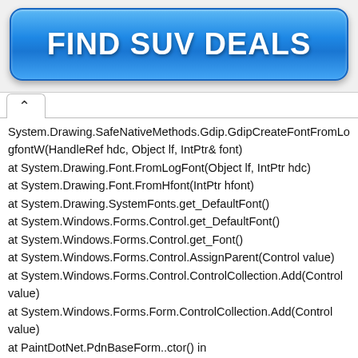[Figure (screenshot): Blue button with white bold text reading FIND SUV DEALS]
System.Drawing.SafeNativeMethods.Gdip.GdipCreateFontFromLogfontW(HandleRef hdc, Object lf, IntPtr& font)
at System.Drawing.Font.FromLogFont(Object lf, IntPtr hdc)
at System.Drawing.Font.FromHfont(IntPtr hfont)
at System.Drawing.SystemFonts.get_DefaultFont()
at System.Windows.Forms.Control.get_DefaultFont()
at System.Windows.Forms.Control.get_Font()
at System.Windows.Forms.Control.AssignParent(Control value)
at System.Windows.Forms.Control.ControlCollection.Add(Control value)
at System.Windows.Forms.Form.ControlCollection.Add(Control value)
at PaintDotNet.PdnBaseForm..ctor() in D:\src\pdn\pdn_35x\src\Core\PdnBaseForm.cs:line 993
at PaintDotNet.Dialogs.MainForm..ctor(String[] args) in D:\src\pdn_35x\src\PaintDotNet\Dialogs\MainForm.cs:line 293